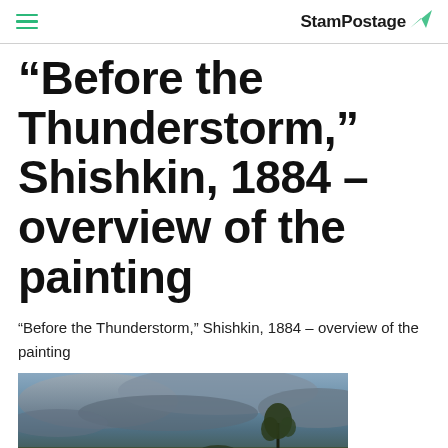StamPostage
“Before the Thunderstorm,” Shishkin, 1884 – overview of the painting
“Before the Thunderstorm,” Shishkin, 1884 – overview of the painting
[Figure (photo): Painting showing a stormy sky with dark clouds and a tree silhouette in landscape.]